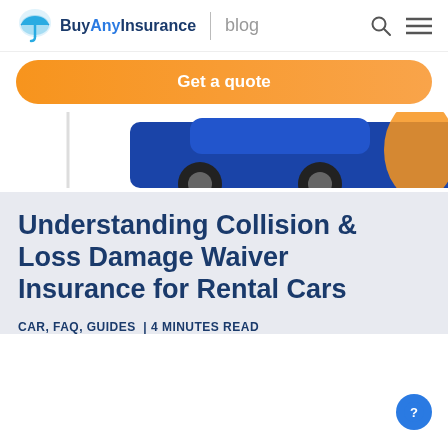BuyAnyInsurance blog
Get a quote
[Figure (illustration): Illustration of a blue car partially visible at the bottom of the header image area, with an orange/red element to the right]
Understanding Collision & Loss Damage Waiver Insurance for Rental Cars
CAR, FAQ, GUIDES | 4 MINUTES READ